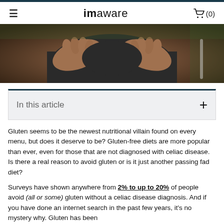≡   imaware   🛒 (0)
[Figure (photo): Close-up photo of a person's torso, hands resting on abdomen wearing dark athletic wear, outdoors.]
In this article  +
Gluten seems to be the newest nutritional villain found on every menu, but does it deserve to be? Gluten-free diets are more popular than ever, even for those that are not diagnosed with celiac disease. Is there a real reason to avoid gluten or is it just another passing fad diet?
Surveys have shown anywhere from 2% to up to 20% of people avoid (all or some) gluten without a celiac disease diagnosis. And if you have done an internet search in the past few years, it's no mystery why. Gluten has been...